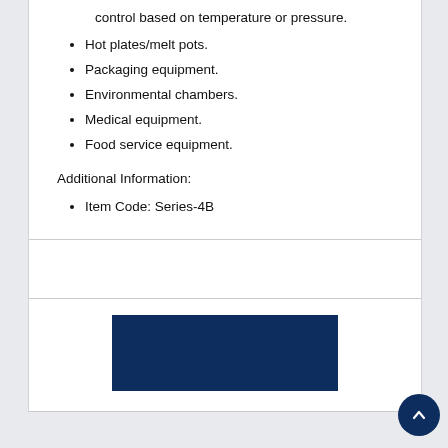control based on temperature or pressure.
Hot plates/melt pots.
Packaging equipment.
Environmental chambers.
Medical equipment.
Food service equipment.
Additional Information:
Item Code: Series-4B
[Figure (other): Dark navy blue rectangular block, likely a product image placeholder or banner.]